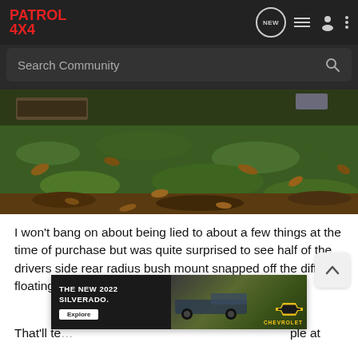PATROL 4X4 — navigation bar with NEW, list, user, and menu icons
Search Community
[Figure (photo): Close-up photo of grassy ground with fallen brown leaves and dirt, partial view of vehicle undercarriage at top left.]
I won't bang on about being lied to about a few things at the time of purchase but was quite surprised to see half of the drivers side rear radius bush mount snapped off the diff and floating arround in the rear draws😊
[Figure (screenshot): Advertisement banner: THE NEW 2022 SILVERADO. Explore button. Chevrolet logo. Image of truck.]
That'll te... ple at